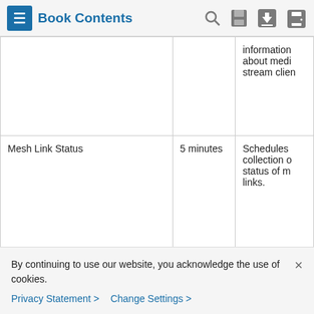Book Contents
|  |  |  |
| --- | --- | --- |
|  |  | Information about medi stream clien |
| Mesh Link Status | 5 minutes | Schedules collection o status of m links. |
By continuing to use our website, you acknowledge the use of cookies.
Privacy Statement > Change Settings >